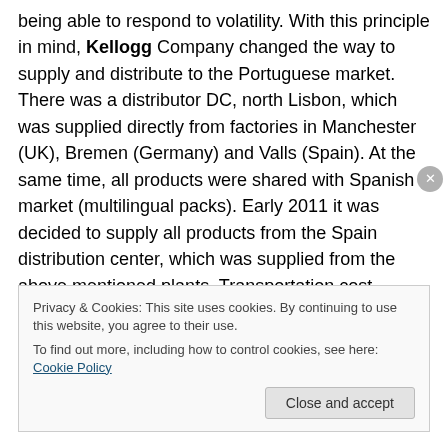being able to respond to volatility. With this principle in mind, Kellogg Company changed the way to supply and distribute to the Portuguese market. There was a distributor DC, north Lisbon, which was supplied directly from factories in Manchester (UK), Bremen (Germany) and Valls (Spain). At the same time, all products were shared with Spanish market (multilingual packs). Early 2011 it was decided to supply all products from the Spain distribution center, which was supplied from the above mentioned plants. Transportation cost slightly increased, but the delivery lead time for most products was reduced
Privacy & Cookies: This site uses cookies. By continuing to use this website, you agree to their use.
To find out more, including how to control cookies, see here: Cookie Policy